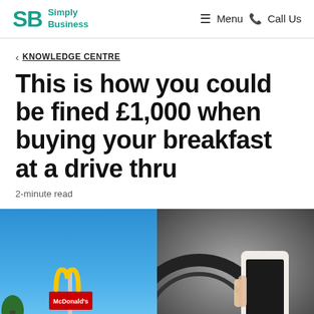SB Simply Business | Menu Call Us
< KNOWLEDGE CENTRE
This is how you could be fined £1,000 when buying your breakfast at a drive thru
2-minute read
[Figure (photo): Two-photo collage: left shows McDonald's golden arches sign against a blue sky; right shows a person holding a white smartphone with a car steering wheel visible in the background.]